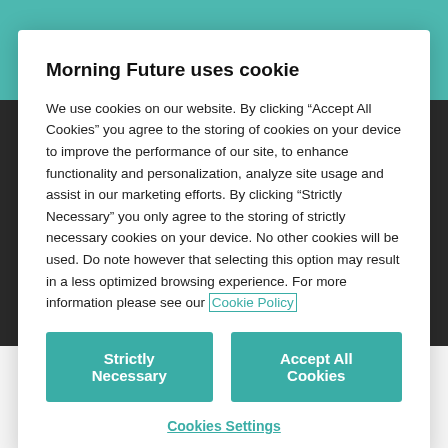Morning Future uses cookie
We use cookies on our website. By clicking “Accept All Cookies” you agree to the storing of cookies on your device to improve the performance of our site, to enhance functionality and personalization, analyze site usage and assist in our marketing efforts. By clicking “Strictly Necessary” you only agree to the storing of strictly necessary cookies on your device. No other cookies will be used. Do note however that selecting this option may result in a less optimized browsing experience. For more information please see our Cookie Policy
Strictly Necessary
Accept All Cookies
Cookies Settings
Hyper-technological society? There's no